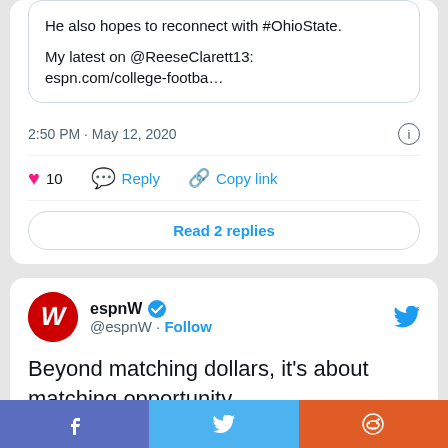He also hopes to reconnect with #OhioState.

My latest on @ReeseClarett13: espn.com/college-footba…
2:50 PM · May 12, 2020
10  Reply  Copy link
Read 2 replies
espnW @espnW · Follow
Beyond matching dollars, it's about matching opportunity.

What equal pay in sports really